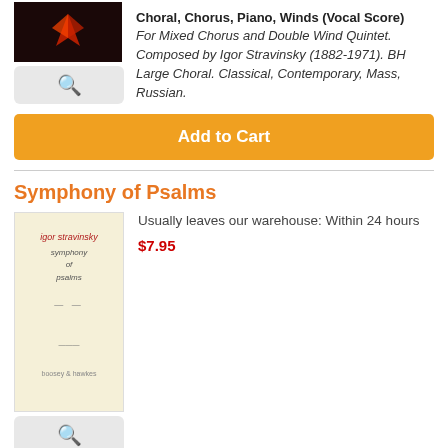[Figure (photo): Dark book cover with red bird/phoenix logo]
[Figure (other): Magnify/search button icon]
Choral, Chorus, Piano, Winds (Vocal Score)
For Mixed Chorus and Double Wind Quintet. Composed by Igor Stravinsky (1882-1971). BH Large Choral. Classical, Contemporary, Mass, Russian.
Add to Cart
Symphony of Psalms
[Figure (photo): Light cream colored book cover for Symphony of Psalms by Igor Stravinsky]
Usually leaves our warehouse: Within 24 hours
$7.95
[Figure (other): Magnify/search button icon]
Choral; Chorus; Orchestra; Piano (Vocal Score)
For Mixed Chorus and Orchestra. Composed by Igor Stravinsky (1882-1971). Edited by Soulima Stravinsky. BH Large Choral. Classical. Contemporary.
Add to Cart